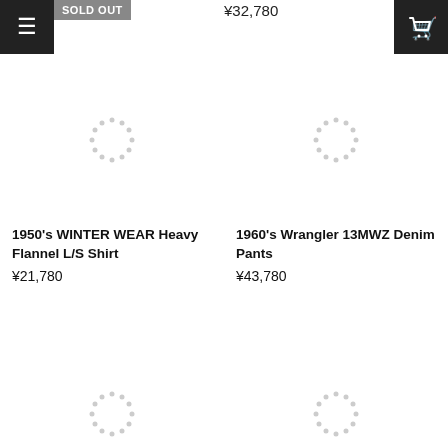[Figure (screenshot): Menu hamburger button - black square with three white horizontal lines]
SOLD OUT
¥32,780
[Figure (screenshot): Shopping cart button - black square with white cart icon]
[Figure (other): Loading spinner circle dotted for product image 1]
[Figure (other): Loading spinner circle dotted for product image 2]
1950's WINTER WEAR Heavy Flannel L/S Shirt
¥21,780
1960's﻿ Wrangler 13MWZ Denim Pants
¥43,780
[Figure (other): Loading spinner circle dotted for product image 3 (bottom left)]
[Figure (other): Loading spinner circle dotted for product image 4 (bottom right)]